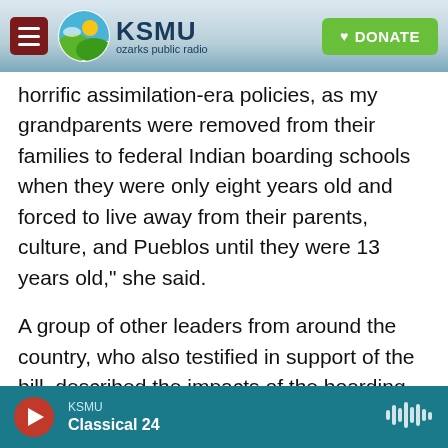[Figure (screenshot): KSMU Ozarks Public Radio website header with logo, menu button, and green Donate button]
horrific assimilation-era policies, as my grandparents were removed from their families to federal Indian boarding schools when they were only eight years old and forced to live away from their parents, culture, and Pueblos until they were 13 years old," she said.
A group of other leaders from around the country, who also testified in support of the bill, described the impacts of the boarding school policies on their people, which they said have included physical, mental, and emotional traumas over the course of generations. Several described their own work to
KSMU   Classical 24